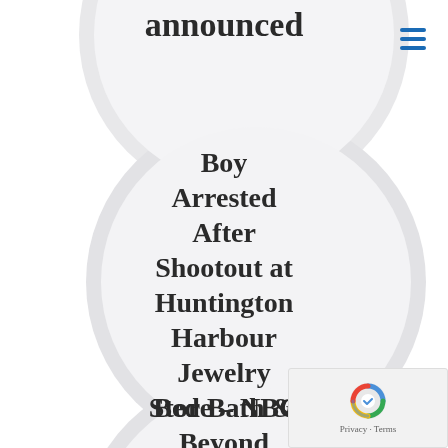[Figure (other): Circular news headline bubble (partially visible at top) with text 'announced']
[Figure (other): Circular news headline bubble with bold text: 'Boy Arrested After Shootout at Huntington Harbour Jewelry Store – NBC']
[Figure (other): Circular news headline bubble (partially visible at bottom) with bold text: 'Bed Bath & Beyond chief financial']
[Figure (other): reCAPTCHA widget with Google logo and Privacy/Terms text in bottom right corner]